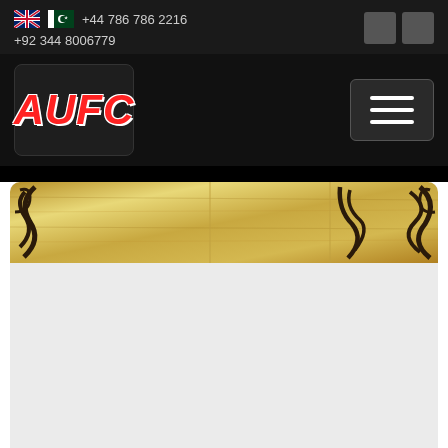+44 786 786 2216  +92 344 8006779
[Figure (logo): AUFC logo with bold red and white italic text on dark background]
[Figure (illustration): Decorative banner image with golden/wooden background and dark scroll ornamental patterns]
[Figure (photo): Light grey content body area below the decorative banner]